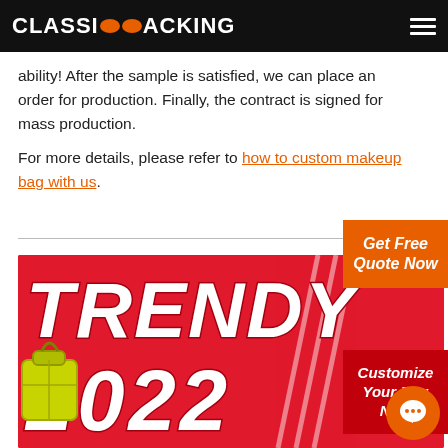CLASSIC PACKING
ability! After the sample is satisfied, we can place an order for production. Finally, the contract is signed for mass production. For more details, please refer to how to custom makeup bag with us.
[Figure (illustration): Red banner image with large white italic bold text reading 'TRENDY' and '2022', with a yellow-green bag illustration on the left and white diagonal lines on the right. Orange circle chat button in lower right.]
Get Free Quote Now
Customize Your Bag Now